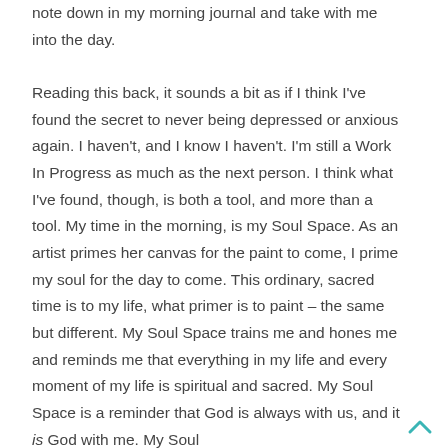note down in my morning journal and take with me into the day.

Reading this back, it sounds a bit as if I think I've found the secret to never being depressed or anxious again. I haven't, and I know I haven't. I'm still a Work In Progress as much as the next person. I think what I've found, though, is both a tool, and more than a tool. My time in the morning, is my Soul Space. As an artist primes her canvas for the paint to come, I prime my soul for the day to come. This ordinary, sacred time is to my life, what primer is to paint – the same but different. My Soul Space trains me and hones me and reminds me that everything in my life and every moment of my life is spiritual and sacred. My Soul Space is a reminder that God is always with us, and it is God with me. My Soul